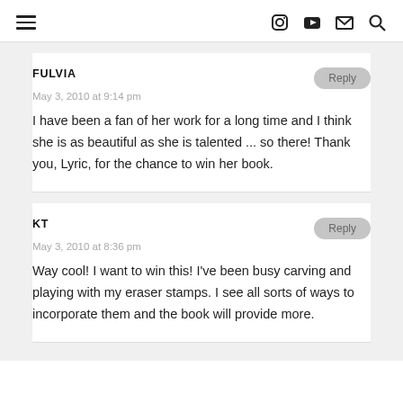Navigation header with hamburger menu and icons: Instagram, YouTube, email, search
FULVIA
May 3, 2010 at 9:14 pm
I have been a fan of her work for a long time and I think she is as beautiful as she is talented ... so there! Thank you, Lyric, for the chance to win her book.
KT
May 3, 2010 at 8:36 pm
Way cool! I want to win this! I've been busy carving and playing with my eraser stamps. I see all sorts of ways to incorporate them and the book will provide more.